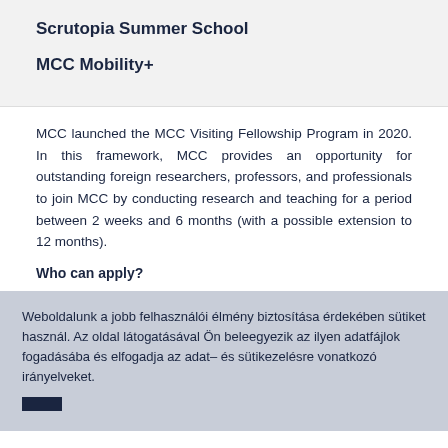Scrutopia Summer School
MCC Mobility+
MCC launched the MCC Visiting Fellowship Program in 2020. In this framework, MCC provides an opportunity for outstanding foreign researchers, professors, and professionals to join MCC by conducting research and teaching for a period between 2 weeks and 6 months (with a possible extension to 12 months).
Who can apply?
Weboldalunk a jobb felhasználói élmény biztosítása érdekében sütiket használ. Az oldal látogatásával Ön beleegyezik az ilyen adatfájlok fogadásába és elfogadja az adat– és sütikezelésre vonatkozó irányelveket.